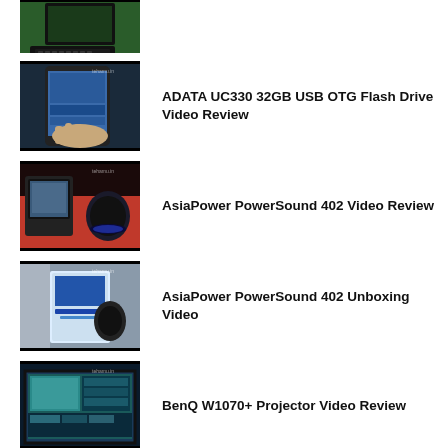[Figure (screenshot): Thumbnail of a desk with computer keyboard and mouse]
[Figure (screenshot): Thumbnail of a hand holding a smartphone showing ADATA UC330 USB OTG Flash Drive]
ADATA UC330 32GB USB OTG Flash Drive Video Review
[Figure (screenshot): Thumbnail of AsiaPower PowerSound 402 speakers on a red surface]
AsiaPower PowerSound 402 Video Review
[Figure (screenshot): Thumbnail of AsiaPower PowerSound 402 box and speaker]
AsiaPower PowerSound 402 Unboxing Video
[Figure (screenshot): Thumbnail of BenQ W1070+ projector displaying a screen]
BenQ W1070+ Projector Video Review